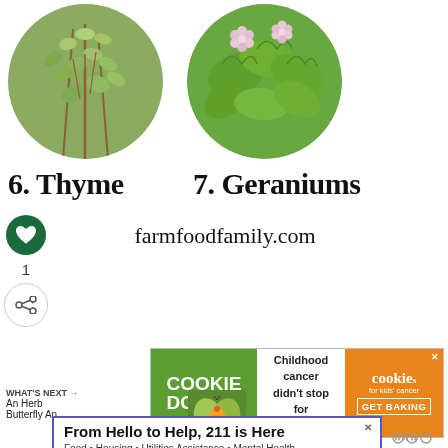[Figure (photo): Circular photo of thyme herb plant with small green leaves on reddish stems]
[Figure (photo): Circular photo of geranium plant with frilly green leaves and small pink flowers]
6. Thyme
7. Geraniums
farmfoodfamily.com
[Figure (infographic): Heart icon button (green circle with white heart) with count 1 below, and share icon]
1
[Figure (infographic): Cookie dough advertisement banner: green section with COOKIE DOUGH text, white middle with childhood cancer COVID-19 message, orange section with cookies for kids cancer GET BAKING]
[Figure (photo): Small thumbnail of herb butterfly garden image]
WHAT'S NEXT → An Herb Butterfly An...
From Hello to Help, 211 is Here Food • Housing • Utilities Assistance • Mental Health